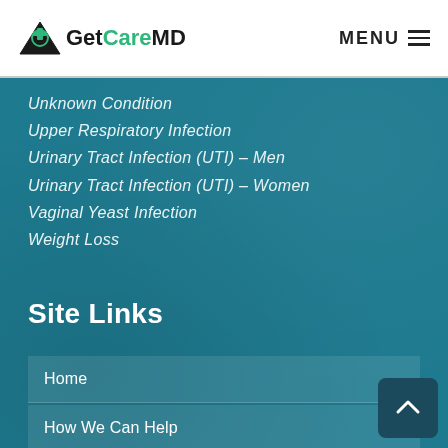GetCareMD  MENU
Unknown Condition
Upper Respiratory Infection
Urinary Tract Infection (UTI) – Men
Urinary Tract Infection (UTI) – Women
Vaginal Yeast Infection
Weight Loss
Site Links
Home
How We Can Help
FAQs
Blog